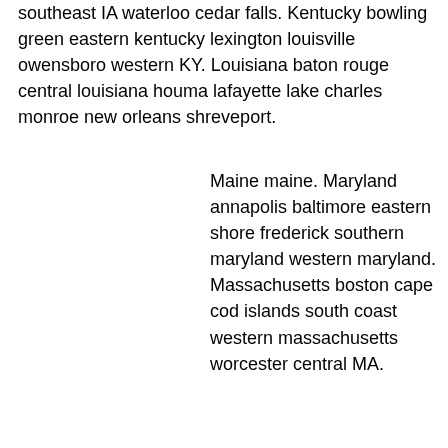southeast IA waterloo cedar falls. Kentucky bowling green eastern kentucky lexington louisville owensboro western KY. Louisiana baton rouge central louisiana houma lafayette lake charles monroe new orleans shreveport.
Maine maine. Maryland annapolis baltimore eastern shore frederick southern maryland western maryland. Massachusetts boston cape cod islands south coast western massachusetts worcester central MA.